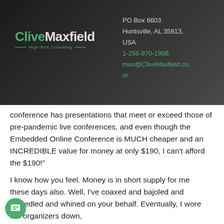[Figure (logo): CliveMaxfield High-Tech Consulting logo on dark gradient background with contact information: PO Box 6603, Huntsville, AL 35813, USA, 1-256-970-1906, max@CliveMaxfield.com]
conference has presentations that meet or exceed those of pre-pandemic live conferences, and even though the Embedded Online Conference is MUCH cheaper and an INCREDIBLE value for money at only $190, I can't afford the $190!"
I know how you feel. Money is in short supply for me these days also. Well, I've coaxed and bajoled and wheedled and whined on your behalf. Eventually, I wore the organizers down,